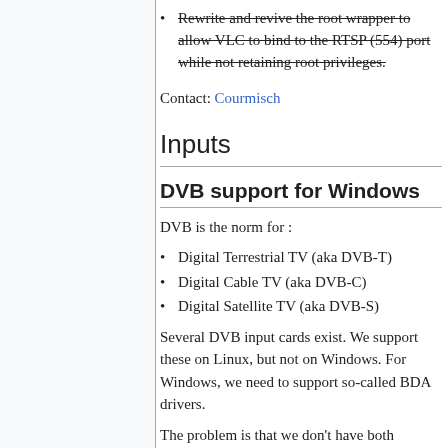Rewrite and revive the root wrapper to allow VLC to bind to the RTSP (554) port while not retaining root privileges. [strikethrough]
Contact: Courmisch
Inputs
DVB support for Windows
DVB is the norm for :
Digital Terrestrial TV (aka DVB-T)
Digital Cable TV (aka DVB-C)
Digital Satellite TV (aka DVB-S)
Several DVB input cards exist. We support these on Linux, but not on Windows. For Windows, we need to support so-called BDA drivers.
The problem is that we don't have both